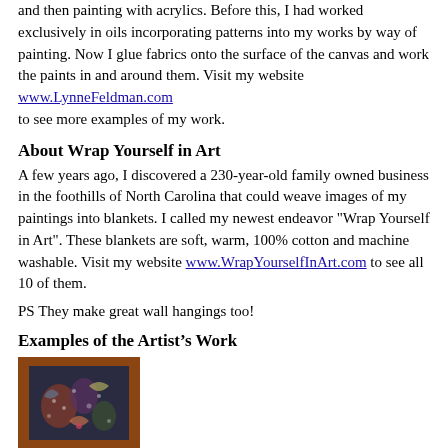and then painting with acrylics. Before this, I had worked exclusively in oils incorporating patterns into my works by way of painting. Now I glue fabrics onto the surface of the canvas and work the paints in and around them. Visit my website www.LynneFeldman.com to see more examples of my work.
About Wrap Yourself in Art
A few years ago, I discovered a 230-year-old family owned business in the foothills of North Carolina that could weave images of my paintings into blankets. I called my newest endeavor "Wrap Yourself in Art". These blankets are soft, warm, 100% cotton and machine washable. Visit my website www.WrapYourselfInArt.com to see all 10 of them.
PS They make great wall hangings too!
Examples of the Artist’s Work
[Figure (photo): A painting example showing colorful patterned artwork with floral and organic motifs on a dark background, displayed in a brown/orange frame.]